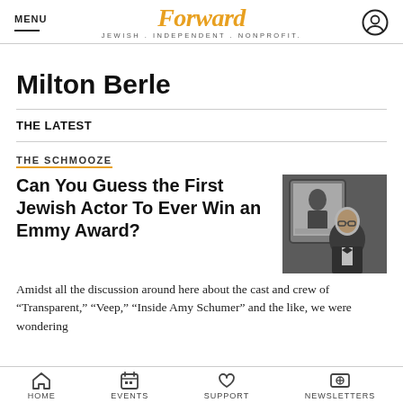Forward — JEWISH . INDEPENDENT . NONPROFIT.
Milton Berle
THE LATEST
THE SCHMOOZE
Can You Guess the First Jewish Actor To Ever Win an Emmy Award?
[Figure (photo): Black and white photo showing Milton Berle on a TV screen, with a man in a tuxedo in the foreground]
Amidst all the discussion around here about the cast and crew of "Transparent," "Veep," "Inside Amy Schumer" and the like, we were wondering
HOME   EVENTS   SUPPORT   NEWSLETTERS